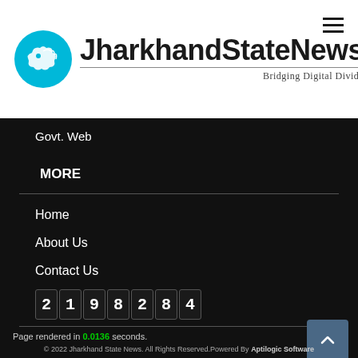[Figure (logo): JharkhandStateNews logo with cyan circle containing a white bird/map silhouette, site name in bold sans-serif, tagline 'Bridging Digital Divide']
Govt. Web
MORE
Home
About Us
Contact Us
2198284
Page rendered in 0.0136 seconds.
© 2022 Jharkhand State News. All Rights Reserved.Powered By Aptilogic Software